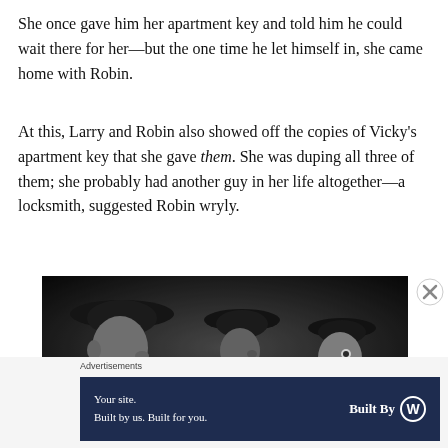She once gave him her apartment key and told him he could wait there for her—but the one time he let himself in, she came home with Robin.
At this, Larry and Robin also showed off the copies of Vicky's apartment key that she gave them. She was duping all three of them; she probably had another guy in her life altogether—a locksmith, suggested Robin wryly.
[Figure (photo): Black and white film still showing three men wearing dark hats, in a classic cinema style]
Advertisements
[Figure (screenshot): WordPress advertisement banner: 'Your site. Built by us. Built for you.' with 'Built By' WordPress logo on dark navy background]